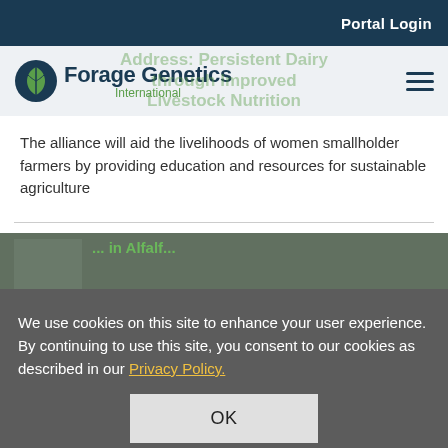Portal Login
[Figure (logo): Forage Genetics International logo with circular leaf icon]
Address: Persistent Dairy through Improved Livestock Nutrition
The alliance will aid the livelihoods of women smallholder farmers by providing education and resources for sustainable agriculture
We use cookies on this site to enhance your user experience. By continuing to use this site, you consent to our cookies as described in our Privacy Policy.
OK
Blue Sprout ... rest of the West...